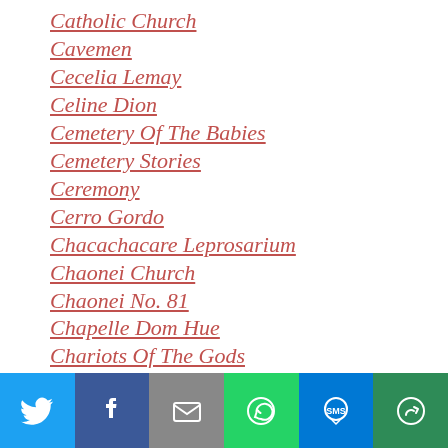Catholic Church
Cavemen
Cecelia Lemay
Celine Dion
Cemetery Of The Babies
Cemetery Stories
Ceremony
Cerro Gordo
Chacachacare Leprosarium
Chaonei Church
Chaonei No. 81
Chapelle Dom Hue
Chariots Of The Gods
Charles Hickson
Charles Manson
Charles Walton Murder
Charles R…
[Figure (infographic): Social sharing bar with Twitter, Facebook, Email, WhatsApp, SMS, and More buttons]